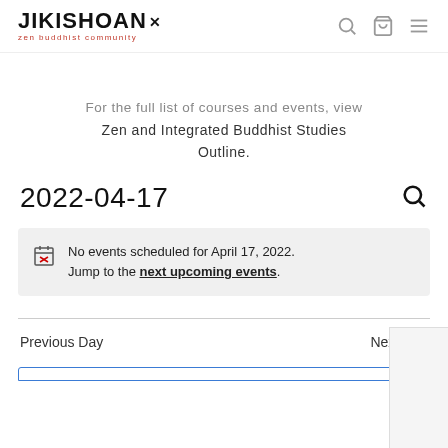JIKISHOAN zen buddhist community
For the full list of courses and events, view Zen and Integrated Buddhist Studies Outline.
2022-04-17
No events scheduled for April 17, 2022. Jump to the next upcoming events.
Previous Day
Next Day